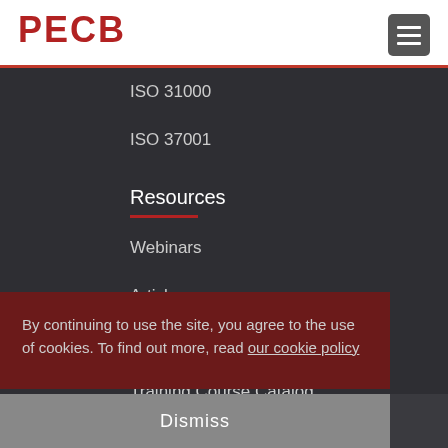[Figure (logo): PECB logo in red bold letters on white nav bar]
ISO 31000
ISO 37001
Resources
Webinars
Articles
Info Kits
Training Course Catalog
Apps
By continuing to use the site, you agree to the use of cookies. To find out more, read our cookie policy
Network